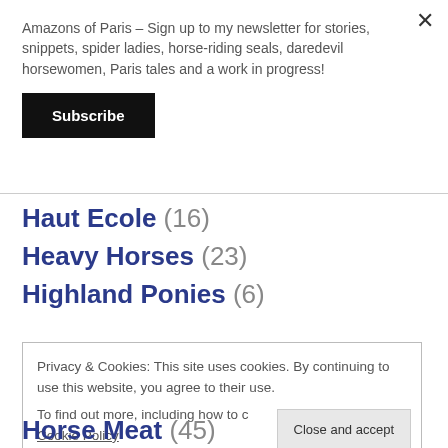Amazons of Paris – Sign up to my newsletter for stories, snippets, spider ladies, horse-riding seals, daredevil horsewomen, Paris tales and a work in progress!
Subscribe
Haut Ecole (16)
Heavy Horses (23)
Highland Ponies (6)
Privacy & Cookies: This site uses cookies. By continuing to use this website, you agree to their use.
To find out more, including how to control cookies, see here: Cookie Policy
Close and accept
Horse Meat (45)